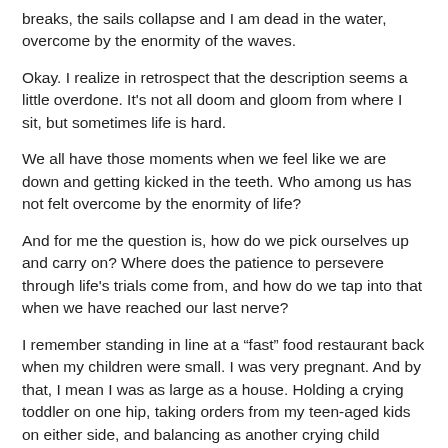breaks, the sails collapse and I am dead in the water, overcome by the enormity of the waves.
Okay. I realize in retrospect that the description seems a little overdone. It's not all doom and gloom from where I sit, but sometimes life is hard.
We all have those moments when we feel like we are down and getting kicked in the teeth. Who among us has not felt overcome by the enormity of life?
And for me the question is, how do we pick ourselves up and carry on? Where does the patience to persevere through life's trials come from, and how do we tap into that when we have reached our last nerve?
I remember standing in line at a “fast” food restaurant back when my children were small. I was very pregnant. And by that, I mean I was as large as a house. Holding a crying toddler on one hip, taking orders from my teen-aged kids on either side, and balancing as another crying child tugged on my leg. I prayed for patience. Impatient people